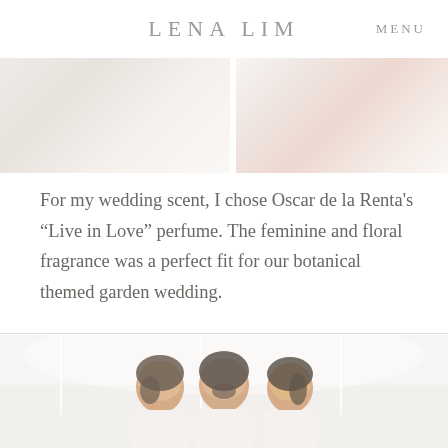LENA LIM  MENU
[Figure (photo): Top portion showing two wedding/bridal photos side by side — left side showing a light airy interior, right side showing what appears to be a pink/blush wedding dress or veil]
For my wedding scent, I chose Oscar de la Renta's “Live in Love” perfume. The feminine and floral fragrance was a perfect fit for our botanical themed garden wedding.
[Figure (photo): Photo of three Asian women smiling, appearing to be bridesmaids or bridal party, photographed in a bright white room with large windows]